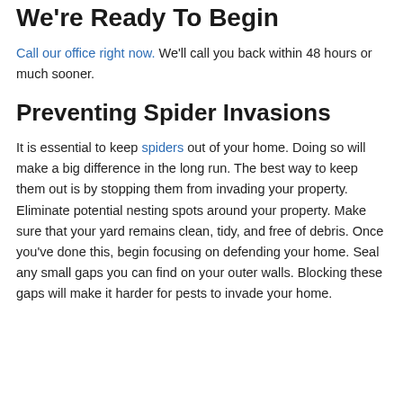We're Ready To Begin
Call our office right now. We'll call you back within 48 hours or much sooner.
Preventing Spider Invasions
It is essential to keep spiders out of your home. Doing so will make a big difference in the long run. The best way to keep them out is by stopping them from invading your property. Eliminate potential nesting spots around your property. Make sure that your yard remains clean, tidy, and free of debris. Once you've done this, begin focusing on defending your home. Seal any small gaps you can find on your outer walls. Blocking these gaps will make it harder for pests to invade your home.